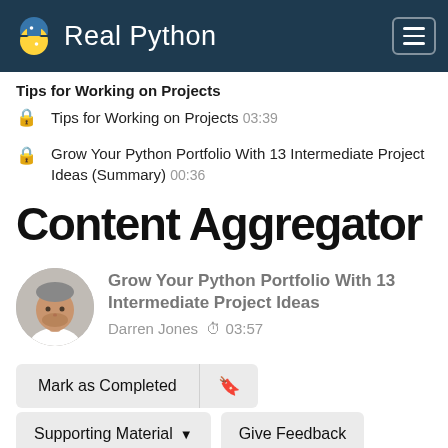Real Python
Tips for Working on Projects
Tips for Working on Projects 03:39
Grow Your Python Portfolio With 13 Intermediate Project Ideas (Summary) 00:36
Content Aggregator
Grow Your Python Portfolio With 13 Intermediate Project Ideas
Darren Jones  03:57
Mark as Completed
Supporting Material   Give Feedback